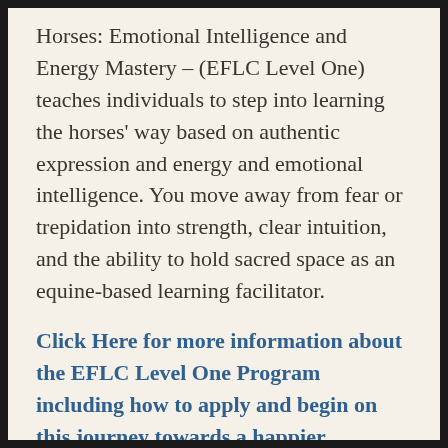Horses: Emotional Intelligence and Energy Mastery – (EFLC Level One) teaches individuals to step into learning the horses' way based on authentic expression and energy and emotional intelligence. You move away from fear or trepidation into strength, clear intuition, and the ability to hold sacred space as an equine-based learning facilitator.
Click Here for more information about the EFLC Level One Program including how to apply and begin on this journey towards a happier, healthier YOU.